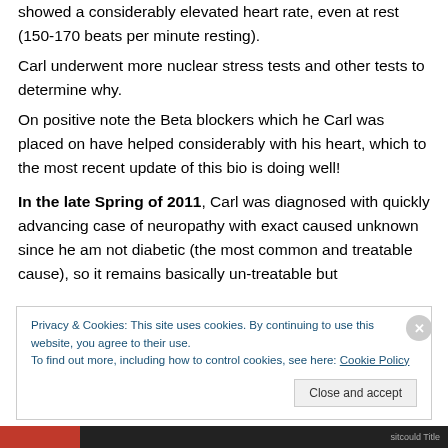showed a considerably elevated heart rate, even at rest (150-170 beats per minute resting).
Carl underwent more nuclear stress tests and other tests to determine why.
On positive note the Beta blockers which he Carl was placed on have helped considerably with his heart, which to the most recent update of this bio is doing well!
In the late Spring of 2011, Carl was diagnosed with quickly advancing case of neuropathy with exact caused unknown since he am not diabetic (the most common and treatable cause), so it remains basically un-treatable but
Privacy & Cookies: This site uses cookies. By continuing to use this website, you agree to their use.
To find out more, including how to control cookies, see here: Cookie Policy